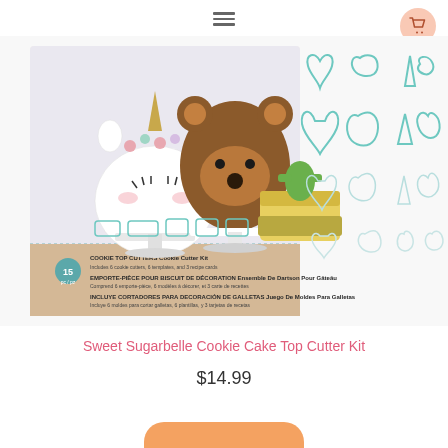navigation menu and cart button
[Figure (photo): Product image of Sweet Sugarbelle Cookie Cake Top Cutter Kit showing decorated cakes (unicorn, bear, pineapple) and cutter shapes on packaging, alongside teal/mint colored plastic cookie cutters laid out separately]
Sweet Sugarbelle Cookie Cake Top Cutter Kit
$14.99